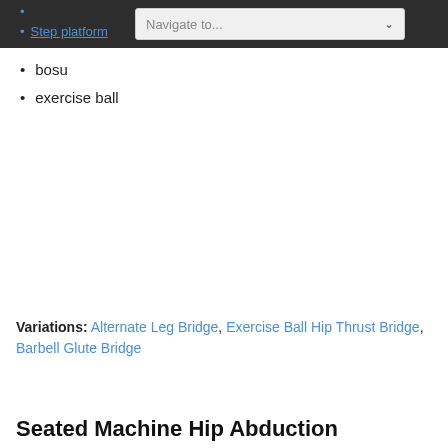Step platform
bosu
exercise ball
Variations: Alternate Leg Bridge, Exercise Ball Hip Thrust Bridge, Barbell Glute Bridge
Seated Machine Hip Abduction